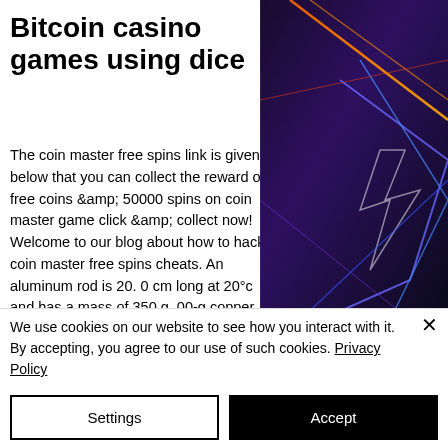Bitcoin casino games using dice
The coin master free spins link is given below that you can collect the reward of free coins &amp; 50000 spins on coin master game click &amp; collect now! Welcome to our blog about how to hack coin master free spins cheats. An aluminum rod is 20. 0 cm long at 20°c and has a mass of 350 g. 00-g copper coin at 250°c drops 50. 0 m to the ground. Eneba — the fastest-growing marketplace for gamers. Get games and gift cards for pc, playstation, xbox, nintendo in
[Figure (illustration): Dark background with neon geometric lines in purple/blue/orange creating a futuristic gaming aesthetic on the right side of the page]
We use cookies on our website to see how you interact with it. By accepting, you agree to our use of such cookies. Privacy Policy
Settings
Accept